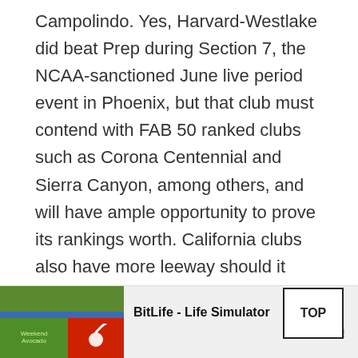Campolindo. Yes, Harvard-Westlake did beat Prep during Section 7, the NCAA-sanctioned June live period event in Phoenix, but that club must contend with FAB 50 ranked clubs such as Corona Centennial and Sierra Canyon, among others, and will have ample opportunity to prove its rankings worth. California clubs also have more leeway should it take a loss. Prep, Rainier Beach and other WIAA clubs do not. With WIAA travel restrictions limiting teams to five non-league games, the Panthers get to play in one tournament. They will have to win the [Prep] [Califo...]
[Figure (other): TOP button — a rectangular button with black border and bold text 'TOP' in the bottom-right area of the page]
[Figure (other): Mobile advertisement banner for BitLife - Life Simulator app, showing ad image on left with green/blue/red sections and a sperm icon, and install button text on the right]